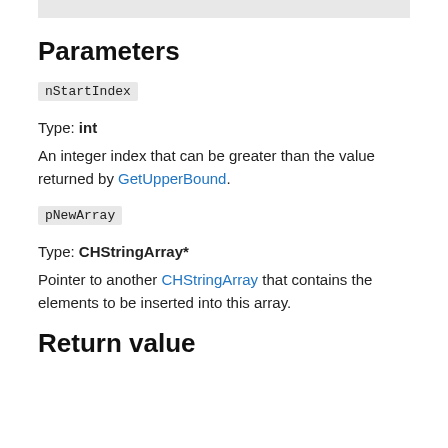Parameters
nStartIndex
Type: int
An integer index that can be greater than the value returned by GetUpperBound.
pNewArray
Type: CHStringArray*
Pointer to another CHStringArray that contains the elements to be inserted into this array.
Return value